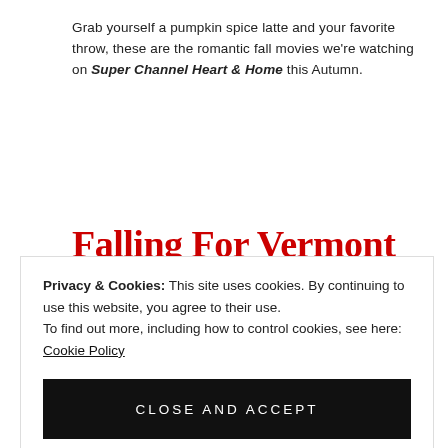Grab yourself a pumpkin spice latte and your favorite throw, these are the romantic fall movies we're watching on Super Channel Heart & Home this Autumn.
Falling For Vermont
WATCH
A best-selling author who got amnesia as the result of a car accident finds refuge with the local doctor of a small idyllic town in
Privacy & Cookies: This site uses cookies. By continuing to use this website, you agree to their use.
To find out more, including how to control cookies, see here: Cookie Policy
CLOSE AND ACCEPT